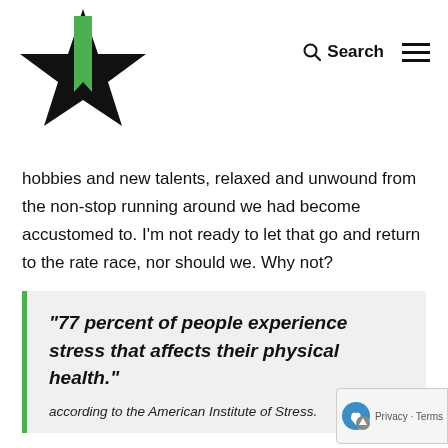Logo and navigation header with Search and menu
hobbies and new talents, relaxed and unwound from the non-stop running around we had become accustomed to. I'm not ready to let that go and return to the rate race, nor should we.  Why not?
“77 percent of people experience stress that affects their physical health.”

according to the American Institute of Stress.
Then why do we continue to push ourselves when we know we shouldn’t or feel we need a break? Many b... it on what some call FOMO.